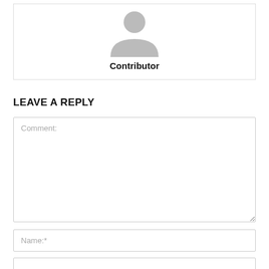[Figure (illustration): Gray placeholder avatar icon showing a generic person silhouette (head and shoulders arch shape) on white background, inside a bordered card with 'Contributor' label below.]
Contributor
LEAVE A REPLY
Comment:
Name:*